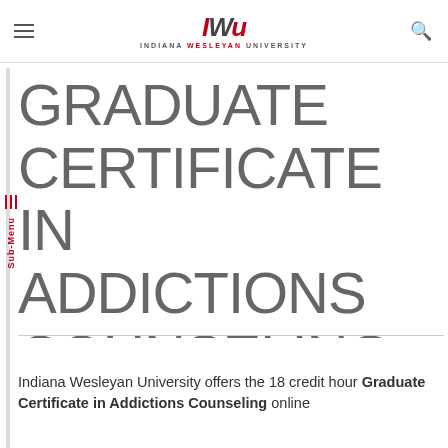IWu INDIANA WESLEYAN UNIVERSITY
GRADUATE CERTIFICATE IN ADDICTIONS COUNSELING
Indiana Wesleyan University offers the 18 credit hour Graduate Certificate in Addictions Counseling online